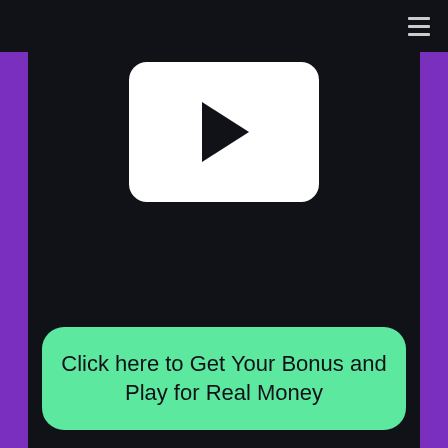[Figure (screenshot): Dark background webpage with purple side bars, hamburger menu icon in top right, a white rounded rectangle video play button thumbnail in the upper center area, and a green rounded rectangle CTA button at the bottom]
Click here to Get Your Bonus and Play for Real Money